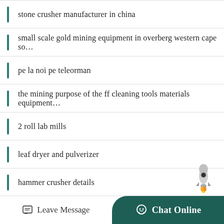stone crusher manufacturer in china
small scale gold mining equipment in overberg western cape so…
pe la noi pe teleorman
the mining purpose of the ff cleaning tools materials equipment…
2 roll lab mills
leaf dryer and pulverizer
hammer crusher details
price of electric jaw crusher 50 tph in rsa
Leave Message  Chat Online